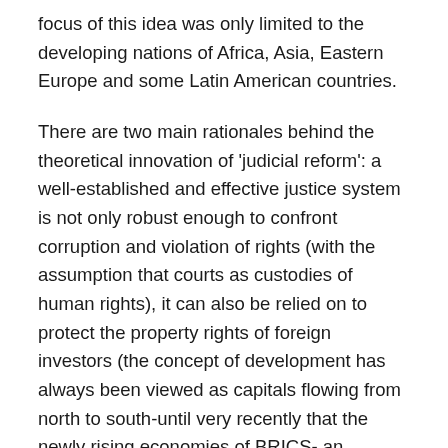focus of this idea was only limited to the developing nations of Africa, Asia, Eastern Europe and some Latin American countries.
There are two main rationales behind the theoretical innovation of 'judicial reform': a well-established and effective justice system is not only robust enough to confront corruption and violation of rights (with the assumption that courts as custodies of human rights), it can also be relied on to protect the property rights of foreign investors (the concept of development has always been viewed as capitals flowing from north to south-until very recently that the newly rising economies of BRICS- an acronym for the multi-dimensional partnership between Brazil, Russia, Indian, China and South Africa- proved otherwise that capital can also flow from south to south).